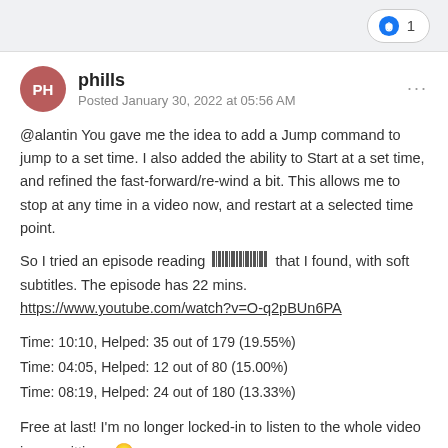❤ 1
phills
Posted January 30, 2022 at 05:56 AM
@alantin You gave me the idea to add a Jump command to jump to a set time.  I also added the ability to Start at a set time, and refined the fast-forward/re-wind a bit.  This allows me to stop at any time in a video now, and restart at a selected time point.
So I tried an episode reading [barcode] that I found, with soft subtitles.  The episode has 22 mins.
https://www.youtube.com/watch?v=O-q2pBUn6PA
Time: 10:10, Helped: 35 out of 179 (19.55%)
Time: 04:05, Helped: 12 out of 80 (15.00%)
Time: 08:19, Helped: 24 out of 180 (13.33%)
Free at last!  I'm no longer locked-in to listen to the whole video in one sitting.  🙂